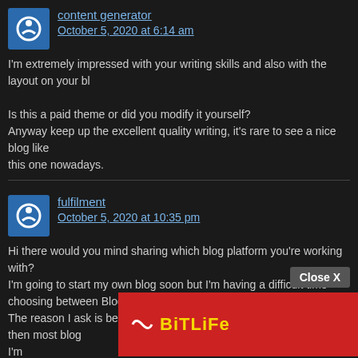content generator
October 5, 2020 at 6:14 am
I'm extremely impressed with your writing skills and also with the layout on your bl
Is this a paid theme or did you modify it yourself?
Anyway keep up the excellent quality writing, it's rare to see a nice blog like
this one nowadays.
fulfilment
October 5, 2020 at 10:35 pm
Hi there would you mind sharing which blog platform you're working with?
I'm going to start my own blog soon but I'm having a difficult time
choosing between BlogEngine/Wordpress/B2evolution and Drupal.
The reason I ask is because your design and style seems different then most blog
I'm
looking for something unique. P.S Apologies for getting off-topic but I had to ask!
greenock scotland
October 6, 2020 at 2:15 am
Scotland … s yearly it is actually w … ce, and also Italy or S… right here
[Figure (screenshot): Advertisement overlay: BitLife app ad on left (red background, yellow BitLiFe logo) and Murder game ad on right (dark background, 'Murder Do it!' with blue button). A 'Close X' button appears above the ads.]